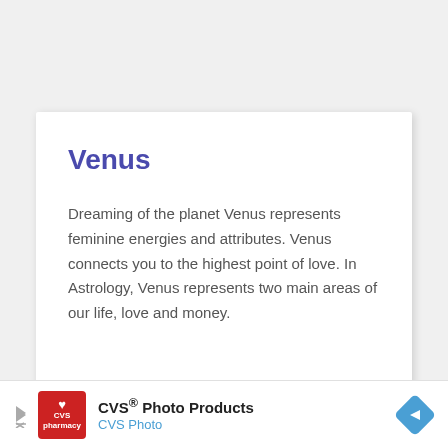Venus
Dreaming of the planet Venus represents feminine energies and attributes. Venus connects you to the highest point of love. In Astrology, Venus represents two main areas of our life, love and money.
[Figure (other): CVS Photo Products advertisement banner with CVS pharmacy logo, text 'CVS® Photo Products' and 'CVS Photo', and a blue navigation arrow diamond icon on the right.]